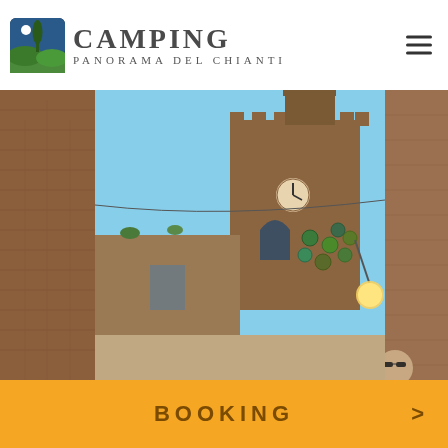[Figure (logo): Camping Panorama del Chianti logo with icon showing cypress tree, mountains and green hills, with stylized hand-drawn text]
[Figure (photo): Street-level photo of a medieval Italian hilltop town (Certaldo or similar Chianti area town) showing brick buildings, a crenellated tower with clock, decorative ceramic plates on facade, a street lamp, and a clear blue sky]
BOOKING >